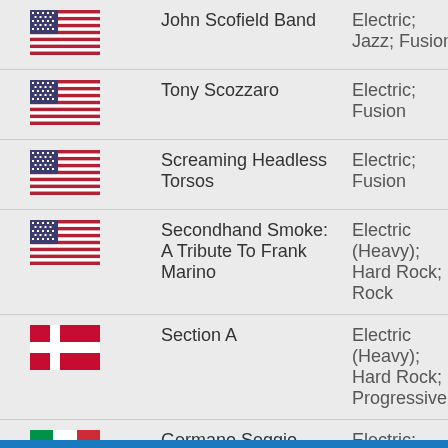| Flag | Artist | Genre | Link |
| --- | --- | --- | --- |
| USA | John Scofield Band | Electric; Jazz; Fusion | iTun |
| USA | Tony Scozzaro | Electric; Fusion | iTun |
| USA | Screaming Headless Torsos | Electric; Fusion | iTun |
| USA | Secondhand Smoke: A Tribute To Frank Marino | Electric (Heavy); Hard Rock; Rock | iTun |
| Denmark | Section A | Electric (Heavy); Hard Rock; Progressive | iTun |
| Italy | Germano Seggio | Electric; Fusion; Shred | iTun |
| Russia | Slavic Selin | Electric; | iTun |